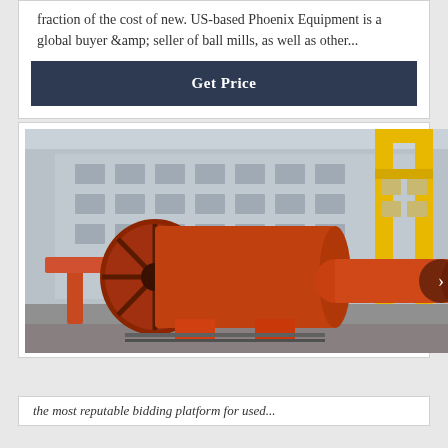fraction of the cost of new. US-based Phoenix Equipment is a global buyer &amp; seller of ball mills, as well as other...
Get Price
[Figure (photo): Industrial ball mills and rotary drum equipment (orange/red colored large cylindrical mills) staged outdoors in front of a large gray industrial factory building with yellow crane gantry structure visible on the right side.]